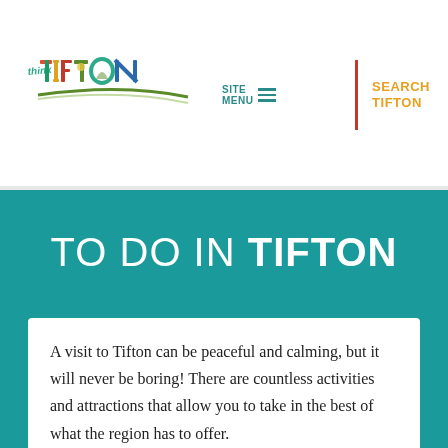[Figure (logo): Think Tifton logo with colorful letters and road/sun imagery]
SITE MENU
SEARCH TIFTON
TO DO IN TIFTON
A visit to Tifton can be peaceful and calming, but it will never be boring! There are countless activities and attractions that allow you to take in the best of what the region has to offer.